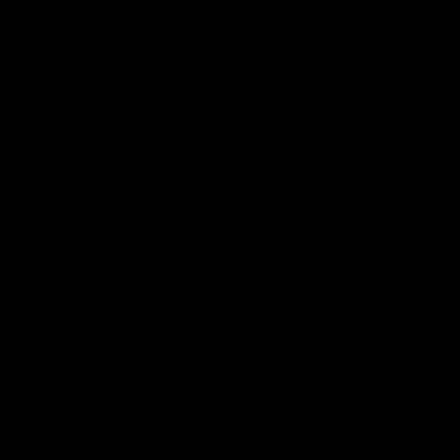[Figure (screenshot): Top black area, likely video player region]
Install latest flash player if you can't see this gallery.
FedEx 2012 - Introduction to the FedEx MEC Negotiating Committee
Introduction to the FedEx MEC Negotiating Committee
Url: http://alpatv.alpa.org/DesktopModules/UltraVideoGaller
Embed: <object allowFullScreen='True' allowScriptAccess='alw:
Events  Conferences  Messages  Resources  MEC  Walking The Line
Most Recent | Most Viewed |
May 15, 2015 - ALPA Weighs In on the Open Skies Debate
03:35
Tim Canoll reiterates ALPA's request that the U.S. government enforce the existing Open Skies agreements with the UAE and Qatar. As evidence has shown, the United Arab Emirates and Qatar are in violation of Open Skies agreements due to the massive subsidies they provide to their state-owned airlines.
Category:Messages
61st Air Safety Forum: Keep America Flying
02:33
ALPA's Air Safety Organization by the numbers.